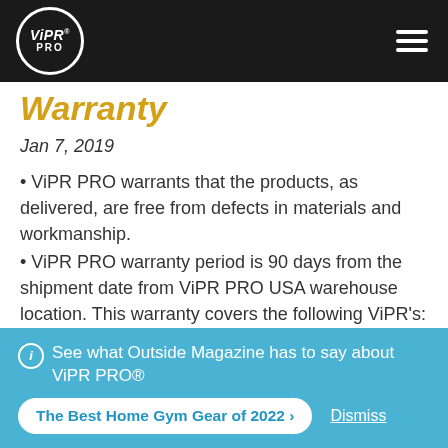ViPR PRO logo and navigation header
Warranty
Jan 7, 2019
ViPR PRO warrants that the products, as delivered, are free from defects in materials and workmanship.
ViPR PRO warranty period is 90 days from the shipment date from ViPR PRO USA warehouse location. This warranty covers the following ViPR's: 4 kg, 6 kg, 8 kg, 10 kg, 12 kg, 16 kg, 20 kg, 32 kg
ℹ See what Outside Magazine has to say about ViPR PRO®
The Best Home Gym Gear of 2022 ›    Dismiss